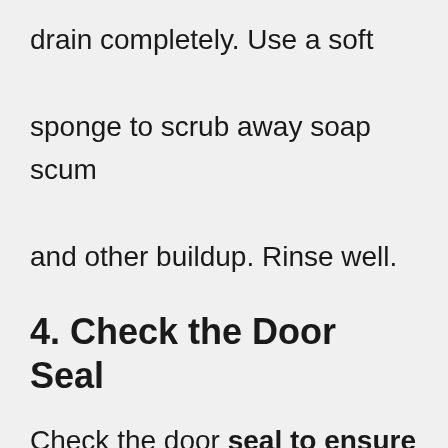drain completely. Use a soft sponge to scrub away soap scum and other buildup. Rinse well.
4. Check the Door Seal
Check the door seal to ensure it is not leaking. If it is, fix it immediately. 5. Tighten the Faucet Handles Answer: Tighten
Faucet Handles Answer: Tighten